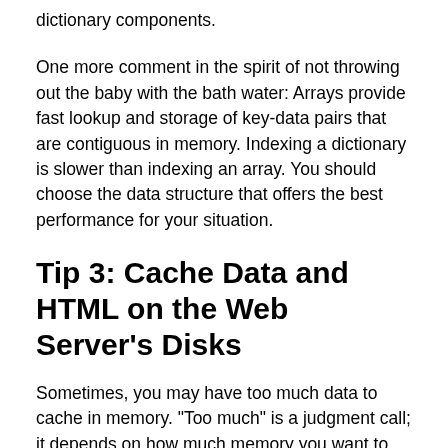dictionary components.
One more comment in the spirit of not throwing out the baby with the bath water: Arrays provide fast lookup and storage of key-data pairs that are contiguous in memory. Indexing a dictionary is slower than indexing an array. You should choose the data structure that offers the best performance for your situation.
Tip 3: Cache Data and HTML on the Web Server's Disks
Sometimes, you may have too much data to cache in memory. "Too much" is a judgment call; it depends on how much memory you want to consume, as well as the number of items to cache and the frequency of which these items will be retrieved. In any case, if you have too much data for in-memory caching, consider caching data in text or XML